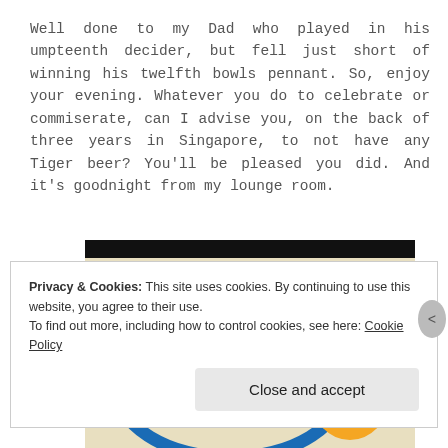Well done to my Dad who played in his umpteenth decider, but fell just short of winning his twelfth bowls pennant. So, enjoy your evening. Whatever you do to celebrate or commiserate, can I advise you, on the back of three years in Singapore, to not have any Tiger beer? You'll be pleased you did. And it's goodnight from my lounge room.
[Figure (photo): Vintage Esso petrol station sign showing the Esso oval logo in red lettering with a blue oval border, and a cartoon tiger mascot. Text reads 'PERFORMANCE MOTORING' in the upper right.]
Privacy & Cookies: This site uses cookies. By continuing to use this website, you agree to their use.
To find out more, including how to control cookies, see here: Cookie Policy
Close and accept